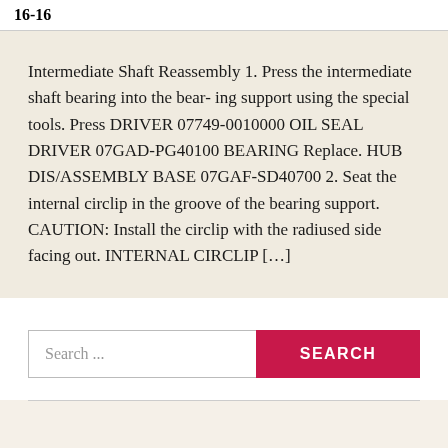16-16
Intermediate Shaft Reassembly 1. Press the intermediate shaft bearing into the bear- ing support using the special tools. Press DRIVER 07749-0010000 OIL SEAL DRIVER 07GAD-PG40100 BEARING Replace. HUB DIS/ASSEMBLY BASE 07GAF-SD40700 2. Seat the internal circlip in the groove of the bearing support. CAUTION: Install the circlip with the radiused side facing out. INTERNAL CIRCLIP […]